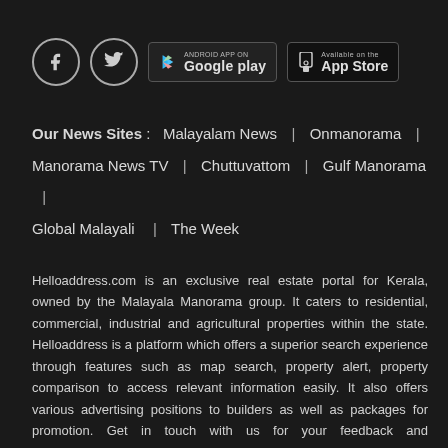[Figure (other): Social media icons (Facebook, Twitter) and app store badges (Google Play, App Store)]
Our News Sites :  Malayalam News  |  Onmanorama  |  Manorama News TV  |  Chuttuvattom  |  Gulf Manorama  |  Global Malayali  |  The Week
Helloaddress.com is an exclusive real estate portal for Kerala, owned by the Malayala Manorama group. It caters to residential, commercial, industrial and agricultural properties within the state. Helloaddress is a platform which offers a superior search experience through features such as map search, property alert, property comparison to access relevant information easily. It also offers various advertising positions to builders as well as packages for promotion. Get in touch with us for your feedback and suggestions.Email: hello@helloaddress.com.